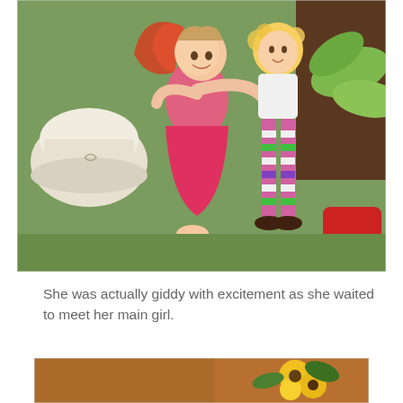[Figure (photo): A woman dressed as a fairy in a pink costume with red wings kneeling down and hugging a young girl with curly blonde hair wearing a white top and colorful striped leggings, set against a fairy-tale themed backdrop with green artificial grass, large decorative flowers, and leaves.]
She was actually giddy with excitement as she waited to meet her main girl.
[Figure (photo): Partial view of a second photo showing colorful flowers and warm-toned scenery, cropped at the bottom of the page.]